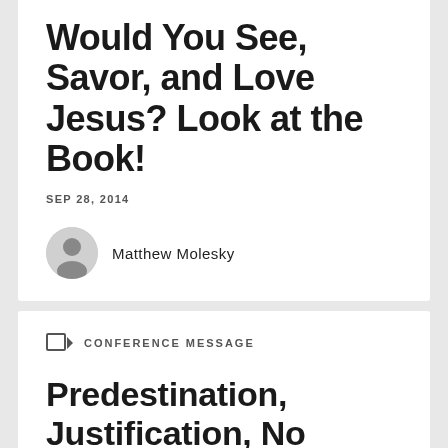Would You See, Savor, and Love Jesus? Look at the Book!
SEP 28, 2014
Matthew Molesky
CONFERENCE MESSAGE
Predestination, Justification, No Separation
Plenary 4 — 2014 National Conference